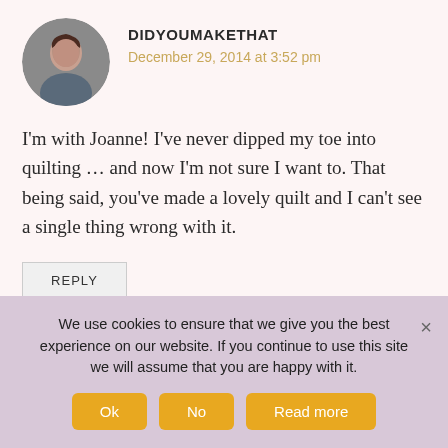DIDYOUMAKETHAT
December 29, 2014 at 3:52 pm
I'm with Joanne! I've never dipped my toe into quilting ... and now I'm not sure I want to. That being said, you've made a lovely quilt and I can't see a single thing wrong with it.
REPLY
THISBLOGISNOTFORYOU
We use cookies to ensure that we give you the best experience on our website. If you continue to use this site we will assume that you are happy with it.
Ok
No
Read more